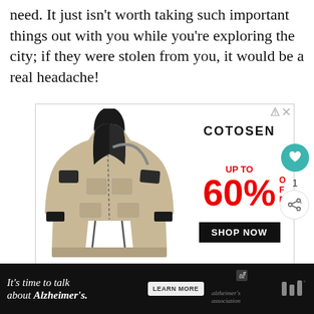need. It just isn't worth taking such important things out with you while you're exploring the city; if they were stolen from you, it would be a real headache!
[Figure (photo): Advertisement for COTOSEN showing a khaki tactical jacket on a mannequin. Text says UP TO 60% OFF and SHOP NOW button.]
[Figure (infographic): Bottom banner ad: It's time to talk about Alzheimer's. LEARN MORE button. Alzheimer's Association logo.]